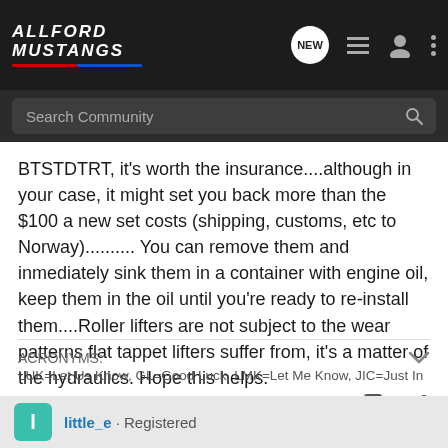AllFord Mustangs
BTSTDTRT, it's worth the insurance....although in your case, it might set you back more than the $100 a new set costs (shipping, customs, etc to Norway).......... You can remove them and inmediately sink them in a container with engine oil, keep them in the oil until you're ready to re-install them....Roller lifters are not subject to the wear patterns flat tappet lifters suffer from, it's a matter of the hydraulics. Hope this helps.
ACRONYMS:
LUK=Let Us Know, GL=Good Luck, LMK=Let Me Know, JIC=Just In
little_e · Registered